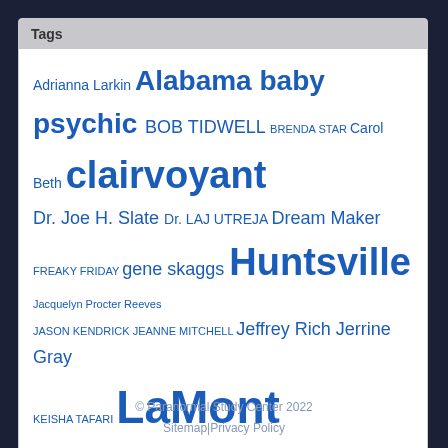Tags
Adrianna Larkin Alabama baby psychic BOB TIDWELL BRENDA STAR Carol Beth clairvoyant Dr. Joe H. Slate Dr. LAJ UTREJA Dream Maker FREAKY FRIDAY gene skaggs Huntsville Jacquelyn Procter Reeves JASON KENDRICK JEANNE MITCHELL Jeffrey Rich Jerrine Gray KEISHA TAFARI LaMont Hamilton Lifes Gift MARLEY GIBSON marsha mathes Mary Morales MASTER TAO HUANG missing persons molly spence MUFON Nashville Psychic Paranormal Study Center PATRICK BURNS PAUL W. SCHENK PHYLLIS LIGHT professional psychic RHONDA MANNING RICH HOFFMAN RICK HAYES ROBYN ANDREWS Ron Gray Sha'La Lightwolf sharon renae UFO world psychic worldpsychic worldpsychic.org
© Paranormal Study Center 2022
Sitemap|Privacy Policy